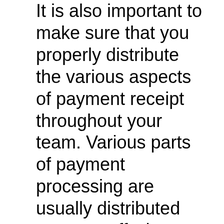It is also important to make sure that you properly distribute the various aspects of payment receipt throughout your team. Various parts of payment processing are usually distributed across staff who handle accounting, analytics, payment posting, and billing. Simple things like removing perforated checks from EOB sheets can end up being very time consuming, so streamlining this process so that it fits your office's workflow can make the entire process easier and more effective for everyone involved, as the payments go from your mail and electronic receipt systems to your accounting department to your payment